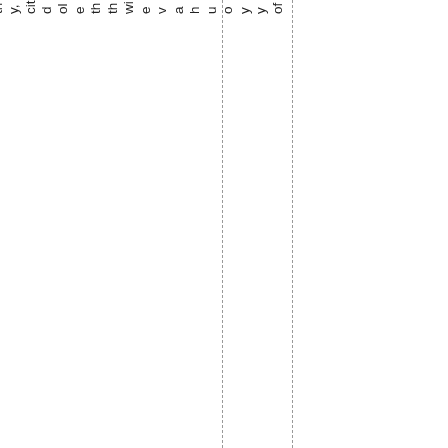of you have with the old city, the more painful it is to a